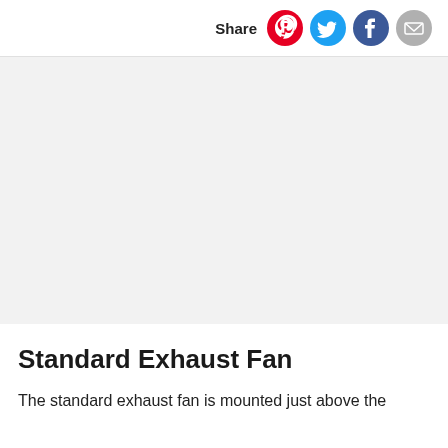Share
[Figure (photo): Large gray placeholder image area for standard exhaust fan product photo]
Standard Exhaust Fan
The standard exhaust fan is mounted just above the